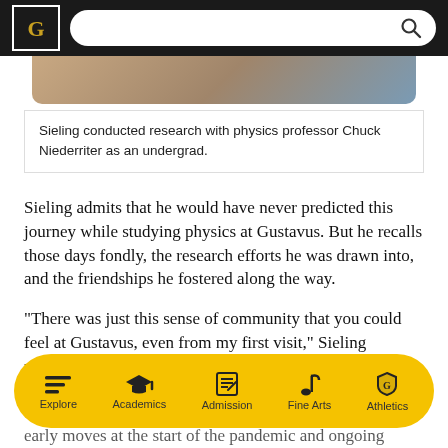[Figure (screenshot): Gustavus Adolphus College website header with black navigation bar containing logo and search bar]
[Figure (photo): Partial photo of Sieling conducting research, cropped at top]
Sieling conducted research with physics professor Chuck Niederriter as an undergrad.
Sieling admits that he would have never predicted this journey while studying physics at Gustavus. But he recalls those days fondly, the research efforts he was drawn into, and the friendships he fostered along the way.
“There was just this sense of community that you could feel at Gustavus, even from my first visit,” Sieling recalled. “It’s a more personal, friendly, family feel.”
Fagan says Sieling has brought that same level of
[Figure (screenshot): Bottom navigation bar with gold/yellow pill shape containing icons and labels: Explore, Academics, Admission, Fine Arts, Athletics]
early moves at the start of the pandemic and ongoing